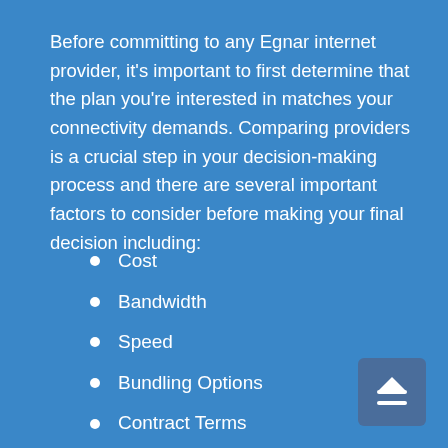Before committing to any Egnar internet provider, it's important to first determine that the plan you're interested in matches your connectivity demands. Comparing providers is a crucial step in your decision-making process and there are several important factors to consider before making your final decision including:
Cost
Bandwidth
Speed
Bundling Options
Contract Terms